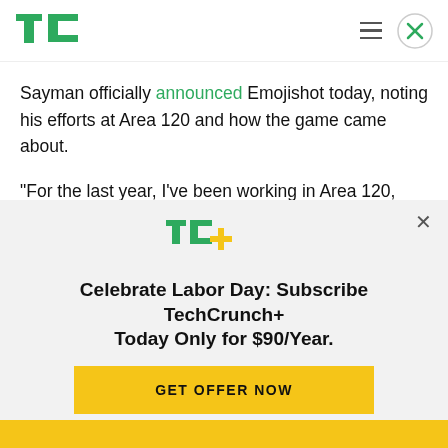TechCrunch
Sayman officially announced Emojishot today, noting his efforts at Area 120 and how the game came about.
“For the last year, I’ve been working in Area 120, Google’s workshop for experimental products. I’ve been exploring and rapidly prototyping a bunch of
[Figure (logo): TC+ TechCrunch Plus logo in green and gold]
Celebrate Labor Day: Subscribe TechCrunch+ Today Only for $90/Year.
GET OFFER NOW